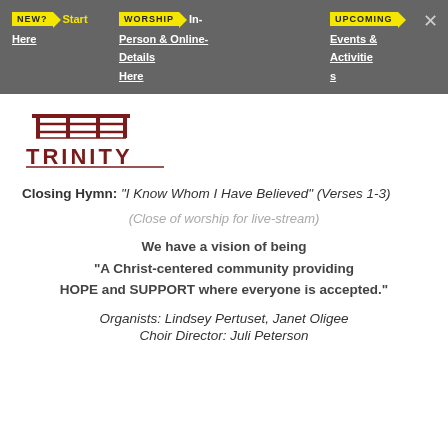NEW? Start Here | WORSHIP In-Person & Online- Details Here | UPCOMING Events & Activities
[Figure (logo): Trinity church logo with bridge/gate symbol above the word TRINITY]
Closing Hymn: "I Know Whom I Have Believed" (Verses 1-3)
(Close of worship for live-stream)
We have a vision of being "A Christ-centered community providing HOPE and SUPPORT where everyone is accepted."
Organists: Lindsey Pertuset, Janet Oligee
Choir Director: Juli Peterson